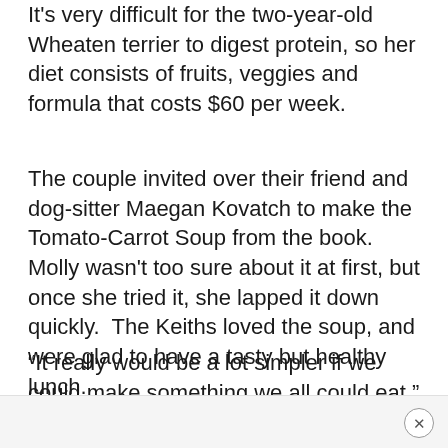It's very difficult for the two-year-old Wheaten terrier to digest protein, so her diet consists of fruits, veggies and formula that costs $60 per week.
The couple invited over their friend and dog-sitter Maegan Kovatch to make the Tomato-Carrot Soup from the book.  Molly wasn't too sure about it at first, but once she tried it, she lapped it down quickly.  The Keiths loved the soup, and were glad to have a tasty but healthy lunch.
“It really would be a lot simpler if we could make something we all could eat,” David refected.
[Figure (other): Footer bar with close (X) button circle in bottom-right corner]